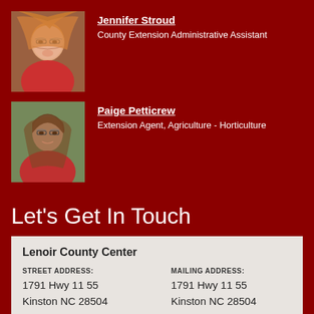[Figure (photo): Headshot of Jennifer Stroud, a woman with blonde curly hair and glasses, wearing a red top]
Jennifer Stroud
County Extension Administrative Assistant
[Figure (photo): Headshot of Paige Petticrew, a young woman with long brown hair and glasses, wearing a red top]
Paige Petticrew
Extension Agent, Agriculture - Horticulture
Let's Get In Touch
Lenoir County Center
STREET ADDRESS:
1791 Hwy 11 55
Kinston NC 28504
MAILING ADDRESS:
1791 Hwy 11 55
Kinston NC 28504
OPEN MON-FRI: 8:30A-5P
(252) 527-2191
lenoir.ces.ncsu.edu